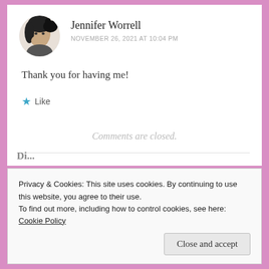[Figure (photo): Circular avatar photo of a person with a black cat]
Jennifer Worrell
NOVEMBER 26, 2021 AT 10:04 PM
Thank you for having me!
★ Like
Comments are closed.
Di...
Privacy & Cookies: This site uses cookies. By continuing to use this website, you agree to their use.
To find out more, including how to control cookies, see here: Cookie Policy
Close and accept